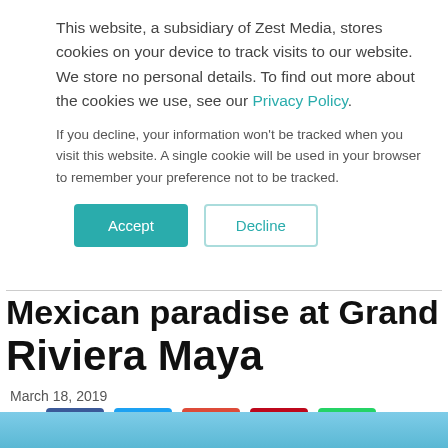This website, a subsidiary of Zest Media, stores cookies on your device to track visits to our website. We store no personal details. To find out more about the cookies we use, see our Privacy Policy.
If you decline, your information won't be tracked when you visit this website. A single cookie will be used in your browser to remember your preference not to be tracked.
Accept   Decline
Mexican paradise at Grand Velas Riviera Maya
March 18, 2019
[Figure (other): Social share buttons: Facebook, Twitter, Google+, Pinterest, WhatsApp]
[Figure (photo): Partial blue sky image strip at bottom of page]